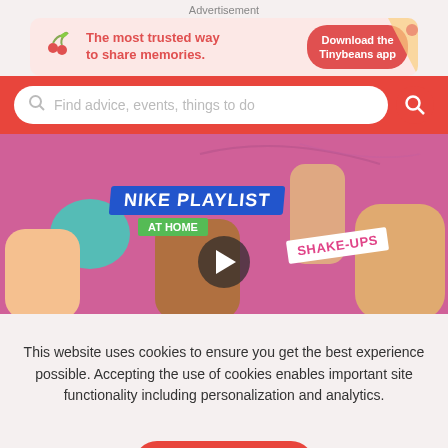Advertisement
[Figure (infographic): Tinybeans app advertisement banner: cherry/plant icon, text 'The most trusted way to share memories.' and 'Download the Tinybeans app' button]
Find advice, events, things to do
[Figure (screenshot): Nike Playlist At Home video thumbnail showing 'Game Time with Sky Brown + Hangs...' with Nike logo, NIKE PLAYLIST AT HOME badge, SHAKE-UPS badge, play button, and three people]
This website uses cookies to ensure you get the best experience possible. Accepting the use of cookies enables important site functionality including personalization and analytics.
Accept
Decline